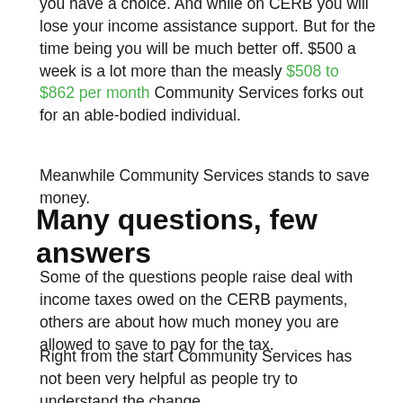you have a choice. And while on CERB you will lose your income assistance support. But for the time being you will be much better off. $500 a week is a lot more than the measly $508 to $862 per month Community Services forks out for an able-bodied individual.
Meanwhile Community Services stands to save money.
Many questions, few answers
Some of the questions people raise deal with income taxes owed on the CERB payments, others are about how much money you are allowed to save to pay for the tax.
Right from the start Community Services has not been very helpful as people try to understand the change.
As well as...